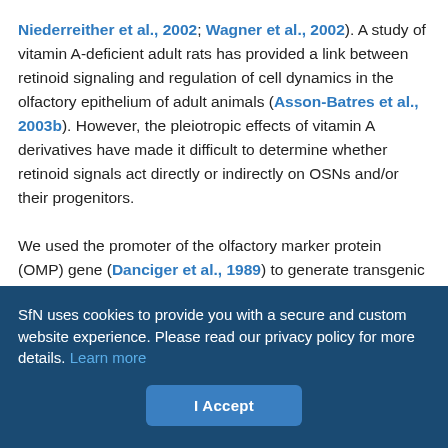Niederreither et al., 2002; Wagner et al., 2002). A study of vitamin A-deficient adult rats has provided a link between retinoid signaling and regulation of cell dynamics in the olfactory epithelium of adult animals (Asson-Batres et al., 2003b). However, the pleiotropic effects of vitamin A derivatives have made it difficult to determine whether retinoid signals act directly or indirectly on OSNs and/or their progenitors.

We used the promoter of the olfactory marker protein (OMP) gene (Danciger et al., 1989) to generate transgenic mice with OSNs that express a mutated RAR variant (RARα403) that inhibits the function of endogenous RARs. This way, the direct responses of OSNs to retinoids during late stages of olfactory map formation and
SfN uses cookies to provide you with a secure and custom website experience. Please read our privacy policy for more details. Learn more